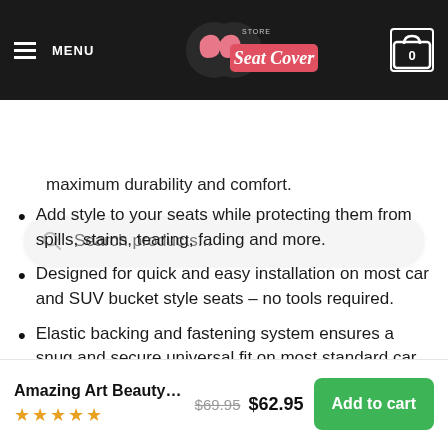[Figure (logo): Store Seat Cover logo with pink/red banner and shoe imagery on dark header]
[Figure (screenshot): Search bar with placeholder text 'Search products...']
maximum durability and comfort.
Add style to your seats while protecting them from spills, stains, tearing, fading and more.
Designed for quick and easy installation on most car and SUV bucket style seats – no tools required.
Elastic backing and fastening system ensures a snug and secure universal fit on most standard car and SUV seats.
Not for use on seats with integrated airbags, seatbelts or armrests.
Amazing Art Beauty An... $69.95 $62.95 Add to cart